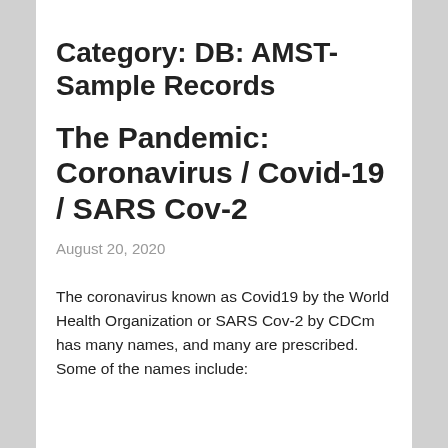Category: DB: AMST-Sample Records
The Pandemic: Coronavirus / Covid-19 / SARS Cov-2
August 20, 2020
The coronavirus known as Covid19 by the World Health Organization or SARS Cov-2 by CDCm has many names, and many are prescribed. Some of the names include: